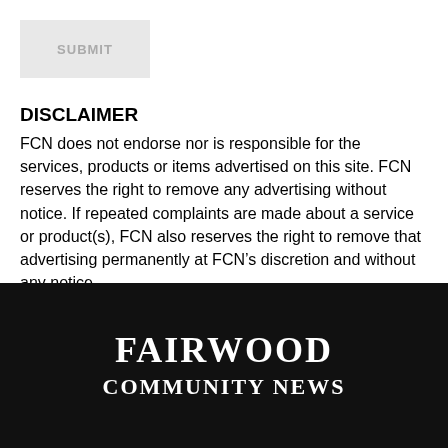[Figure (screenshot): A light gray Submit button with text 'SUBMIT' in gray]
DISCLAIMER
FCN does not endorse nor is responsible for the services, products or items advertised on this site. FCN reserves the right to remove any advertising without notice. If repeated complaints are made about a service or product(s), FCN also reserves the right to remove that advertising permanently at FCN’s discretion and without any notice.
[Figure (logo): Fairwood Community News logo in white text on black background]